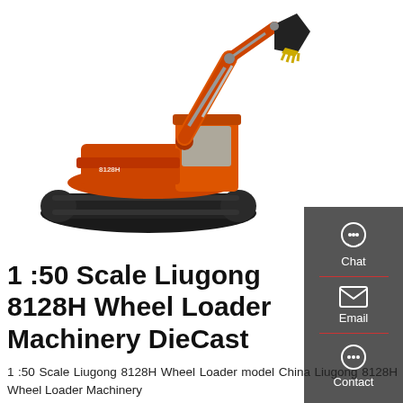[Figure (photo): Orange Liugong 8128H excavator/wheel loader machinery on white background, with extended arm and bucket raised up, tracked undercarriage visible]
1 :50 Scale Liugong 8128H Wheel Loader Machinery DieCast
1 :50 Scale Liugong 8128H Wheel Loader model China Liugong 8128H Wheel Loader Machinery